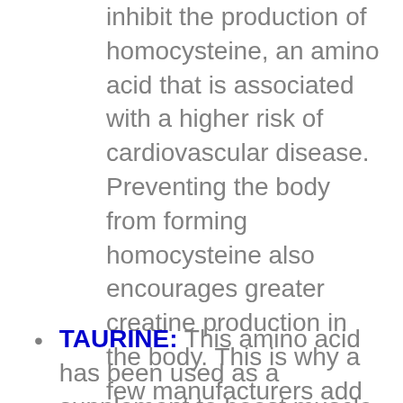inhibit the production of homocysteine, an amino acid that is associated with a higher risk of cardiovascular disease. Preventing the body from forming homocysteine also encourages greater creatine production in the body. This is why a few manufacturers add betaine to the creatine they produce. University of Connecticut (Storrs) researchers were the first to discover that betaine is an effective strength supplement. Under their watch, 12 trained men received either betaine or a placebo for two weeks while following a strength-training program. The American College of Sports Medicine reported that when the subjects took betaine, their bench press strength was boosted by about 25%, while their power on the bench press increased by about 15%.
TAURINE: This amino acid has been used as a supplement to boost muscle strength for a few years. Research shows that higher levels of